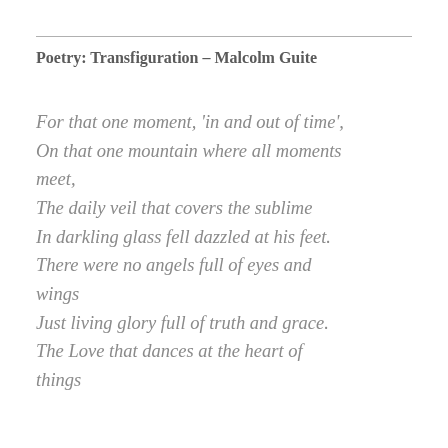Poetry: Transfiguration – Malcolm Guite
For that one moment, 'in and out of time',
On that one mountain where all moments meet,
The daily veil that covers the sublime
In darkling glass fell dazzled at his feet.
There were no angels full of eyes and wings
Just living glory full of truth and grace.
The Love that dances at the heart of things